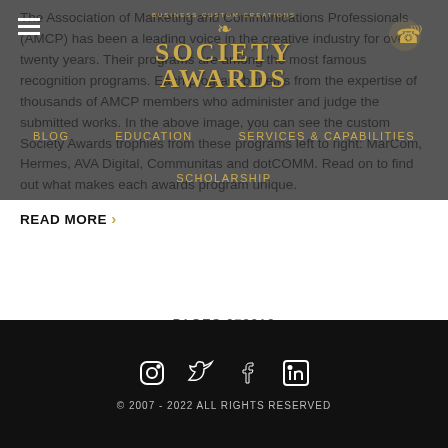[Figure (screenshot): Website navigation overlay with Society Awards logo, hamburger menu, phone icon, Blog, Education, Services & Capabilities, and Scholarship nav links on dark semi-transparent background]
The Association of Marketing and Communications Professionals (AMCP) has been a leading voice in the creative industry for over twenty years. Their programs are among the most famous recognition programs. Each program benefits from the expertise of thousands of AMCP members who administer and judge the submitted works. In the above image, you can see the custom Society Awards trophies from these programs left to right: MarCom, Hermes, AVA Digital, Communitas and dotCOMM. Read on to find out what makes each awards program unique.
READ MORE >
PAGES: 6 7 8 9 10
© 2007 - 2022 ALL RIGHTS RESERVED